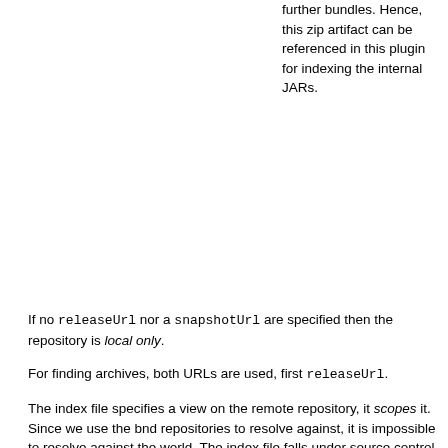further bundles. Hence, this zip artifact can be referenced in this plugin for indexing the internal JARs.
If no releaseUrl nor a snapshotUrl are specified then the repository is local only.
For finding archives, both URLs are used, first releaseUrl.
The index file specifies a view on the remote repository, it scopes it. Since we use the bnd repositories to resolve against, it is impossible to resolve against the world. The index file falls under source control, it is stored in the source control management system. This guarantees that at any time the project is checked out it has the same views on its repository. This is paramount to prevent build breackages due to changes in repositories.
Alternative, the GAV's can be specified in the file where the repository is defined with the source configuration property. This is a string separated by either whitespace, commas, semicolons, or